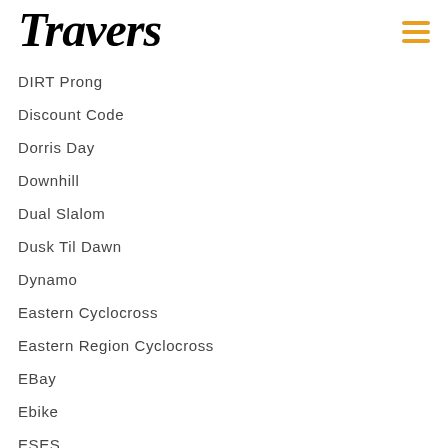Travers
DIRT Prong
Discount Code
Dorris Day
Downhill
Dual Slalom
Dusk Til Dawn
Dynamo
Eastern Cyclocross
Eastern Region Cyclocross
EBay
Ebike
ESES
ESES 2016
ESES 2017
Essex Summer Evening Series